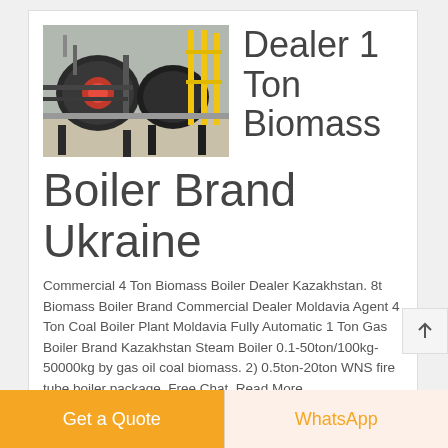[Figure (photo): Industrial biomass boilers in a factory setting, showing large cylindrical boiler units with pipes and yellow support structures]
Dealer 1 Ton Biomass Boiler Brand Ukraine
Commercial 4 Ton Biomass Boiler Dealer Kazakhstan. 8t Biomass Boiler Brand Commercial Dealer Moldavia Agent 4 Ton Coal Boiler Plant Moldavia Fully Automatic 1 Ton Gas Boiler Brand Kazakhstan Steam Boiler 0.1-50ton/100kg-50000kg by gas oil coal biomass. 2) 0.5ton-20ton WNS fire tube boiler package. Free Chat. Read More
GET A QUOTE
Get a Quote
WhatsApp